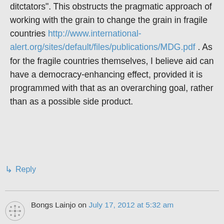ditctators". This obstructs the pragmatic approach of working with the grain to change the grain in fragile countries http://www.international-alert.org/sites/default/files/publications/MDG.pdf . As for the fragile countries themselves, I believe aid can have a democracy-enhancing effect, provided it is programmed with that as an overarching goal, rather than as a possible side product.
↳ Reply
Bongs Lainjo on July 17, 2012 at 5:32 am